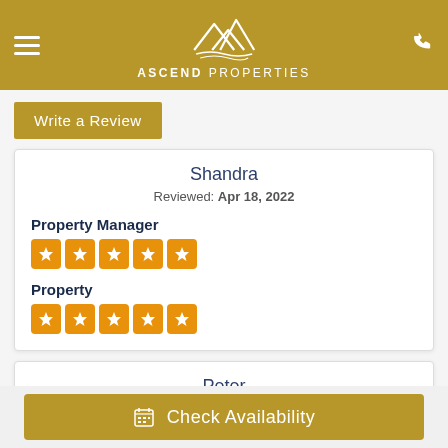ASCEND PROPERTIES
Write a Review
Shandra
Reviewed: Apr 18, 2022
Property Manager
★★★★★
Property
★★★★★
Peter
Check Availability